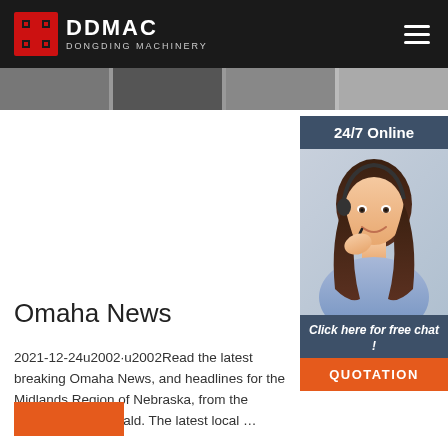DDMAC DONGDING MACHINERY
[Figure (photo): Website header with DDMAC Dongding Machinery logo on dark background with hamburger menu icon]
[Figure (photo): Decorative image strip showing partial machinery/product images]
[Figure (photo): Customer service widget with '24/7 Online' header, photo of smiling woman with headset, 'Click here for free chat!' text and orange QUOTATION button]
Omaha News
2021-12-24u2002·u2002Read the latest breaking Omaha News, and headlines for the Midlands Region of Nebraska, from the Omaha World-Herald. The latest local …